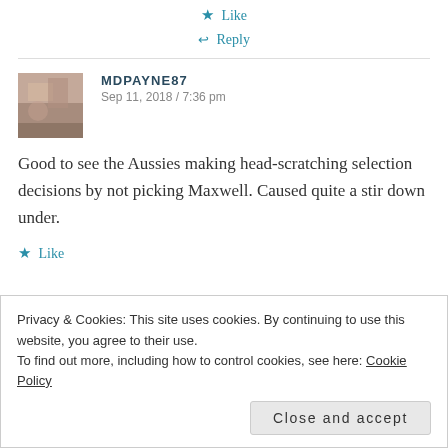★ Like
↩ Reply
MDPAYNE87
Sep 11, 2018 / 7:36 pm
Good to see the Aussies making head-scratching selection decisions by not picking Maxwell. Caused quite a stir down under.
★ Like
Privacy & Cookies: This site uses cookies. By continuing to use this website, you agree to their use.
To find out more, including how to control cookies, see here: Cookie Policy
Close and accept